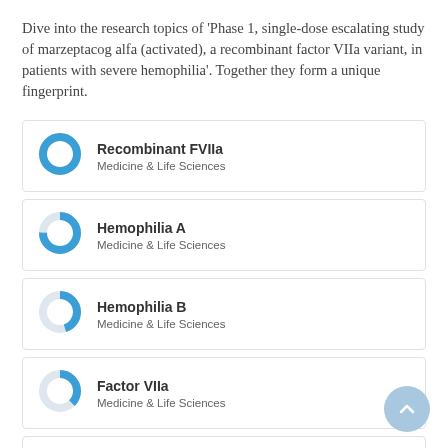Dive into the research topics of 'Phase 1, single-dose escalating study of marzeptacog alfa (activated), a recombinant factor VIIa variant, in patients with severe hemophilia'. Together they form a unique fingerprint.
Recombinant FVIIa — Medicine & Life Sciences
Hemophilia A — Medicine & Life Sciences
Hemophilia B — Medicine & Life Sciences
Factor VIIa — Medicine & Life Sciences
Pharmacokinetics — Medicine & Life Sciences